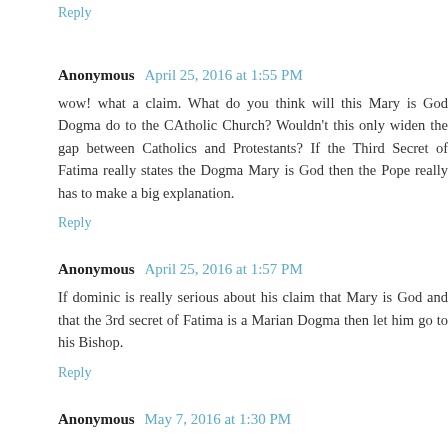Reply
Anonymous April 25, 2016 at 1:55 PM
wow! what a claim. What do you think will this Mary is God Dogma do to the CAtholic Church? Wouldn't this only widen the gap between Catholics and Protestants? If the Third Secret of Fatima really states the Dogma Mary is God then the Pope really has to make a big explanation.
Reply
Anonymous April 25, 2016 at 1:57 PM
If dominic is really serious about his claim that Mary is God and that the 3rd secret of Fatima is a Marian Dogma then let him go to his Bishop.
Reply
Anonymous May 7, 2016 at 1:30 PM